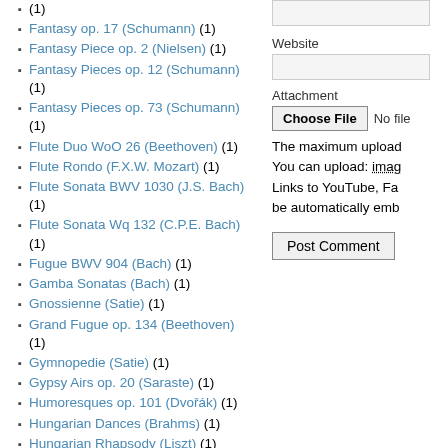(1)
Fantasy op. 17 (Schumann) (1)
Fantasy Piece op. 2 (Nielsen) (1)
Fantasy Pieces op. 12 (Schumann) (1)
Fantasy Pieces op. 73 (Schumann) (1)
Flute Duo WoO 26 (Beethoven) (1)
Flute Rondo (F.X.W. Mozart) (1)
Flute Sonata BWV 1030 (J.S. Bach) (1)
Flute Sonata Wq 132 (C.P.E. Bach) (1)
Fugue BWV 904 (Bach) (1)
Gamba Sonatas (Bach) (1)
Gnossienne (Satie) (1)
Grand Fugue op. 134 (Beethoven) (1)
Gymnopedie (Satie) (1)
Gypsy Airs op. 20 (Saraste) (1)
Humoresques op. 101 (Dvořák) (1)
Hungarian Dances (Brahms) (1)
Hungarian Rhapsody (Liszt) (1)
Iberia (Albéniz) (1)
Impromptus D 946 (Schubert) (1)
Islamey (Balakirov) (1)